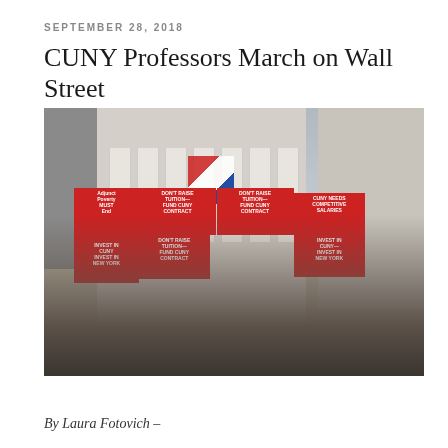SEPTEMBER 28, 2018
CUNY Professors March on Wall Street
[Figure (photo): Crowd of protesters marching outside a large classical building (New York Stock Exchange on Wall Street), holding red-and-white signs reading 'DON'T RAISE TUITION—FUND CUNY CONTRACT', 'CUNY NEEDS COMPETITIVE SALARIES', 'INVEST IN CUNY—INVEST IN NEW YORK', and 'Adjunct Poverty MUST End'. An American flag is visible in the background. Protesters fill the street; camera crew visible in the crowd.]
By Laura Fotovich –